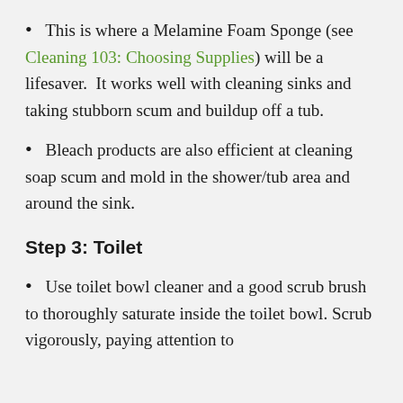This is where a Melamine Foam Sponge (see Cleaning 103: Choosing Supplies) will be a lifesaver.  It works well with cleaning sinks and taking stubborn scum and buildup off a tub.
Bleach products are also efficient at cleaning soap scum and mold in the shower/tub area and around the sink.
Step 3: Toilet
Use toilet bowl cleaner and a good scrub brush to thoroughly saturate inside the toilet bowl. Scrub vigorously, paying attention to